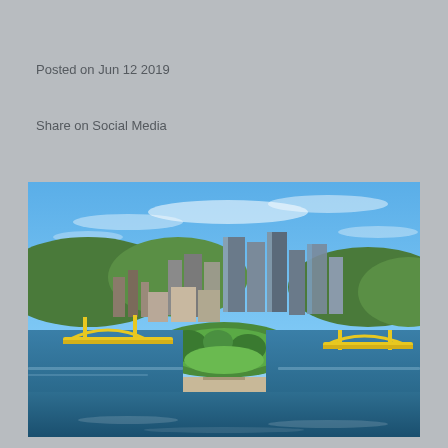Posted on Jun 12 2019
Share on Social Media
[Figure (photo): Aerial view of Pittsburgh, Pennsylvania skyline with rivers, yellow bridges, Point State Park, fountain, and downtown skyscrapers under a blue sky]